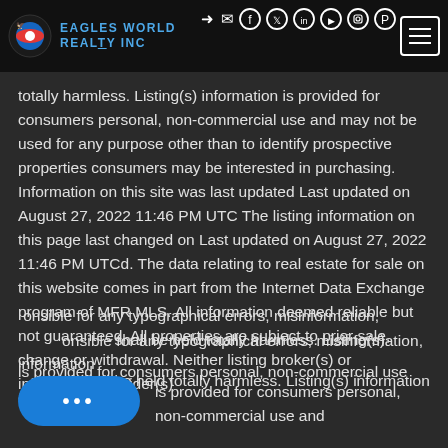Eagles World Realty Inc — navigation header with logo and social icons
totally harmless. Listing(s) information is provided for consumers personal, non-commercial use and may not be used for any purpose other than to identify prospective properties consumers may be interested in purchasing. Information on this site was last updated Last updated on August 27, 2022 11:46 PM UTC The listing information on this page last changed on Last updated on August 27, 2022 11:46 PM UTCd. The data relating to real estate for sale on this website comes in part from the Internet Data Exchange program of MFR MLS. All information deemed reliable but not guaranteed. All properties are subject to prior sale, change or withdrawal. Neither listing broker(s) or information provider(s) responsible for any typographical errors, misinformation, misprints and shall be held totally harmless. Listing(s) information is provided for consumers personal, non-commercial use and may not be used for any